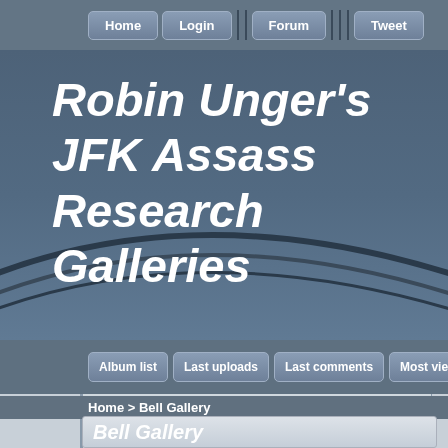Home | Login | Forum | Tweet
Robin Unger's JFK Assassination Research Galleries
Album list | Last uploads | Last comments | Most viewed | Top rated
Home > Bell Gallery
Bell Gallery